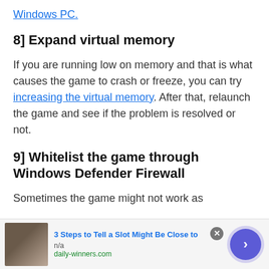Windows PC.
8] Expand virtual memory
If you are running low on memory and that is what causes the game to crash or freeze, you can try increasing the virtual memory. After that, relaunch the game and see if the problem is resolved or not.
9] Whitelist the game through Windows Defender Firewall
Sometimes the game might not work as
[Figure (other): Advertisement banner: image of person, title '3 Steps to Tell a Slot Might Be Close to', source 'daily-winners.com', navigation arrow button]